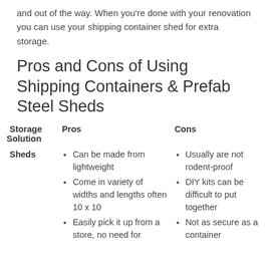and out of the way. When you're done with your renovation you can use your shipping container shed for extra storage.
Pros and Cons of Using Shipping Containers & Prefab Steel Sheds
| Storage Solution | Pros | Cons |
| --- | --- | --- |
| Sheds | Can be made from lightweight | Usually are not rodent-proof |
|  | Come in variety of widths and lengths often 10 x 10 | DIY kits can be difficult to put together |
|  | Easily pick it up from a store, no need for | Not as secure as a container |